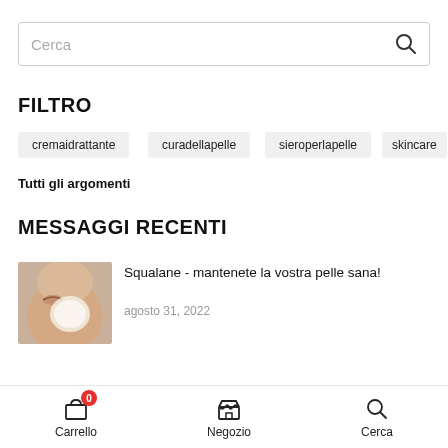Cerca
FILTRO
cremaidrattante
curadellapelle
sieroperlapelle
skincare
Tutti gli argomenti
MESSAGGI RECENTI
[Figure (photo): Thumbnail photo of a person applying cream to their face, close-up skin texture]
Squalane - mantenete la vostra pelle sana!
agosto 31, 2022
Carrello  Negozio  Cerca